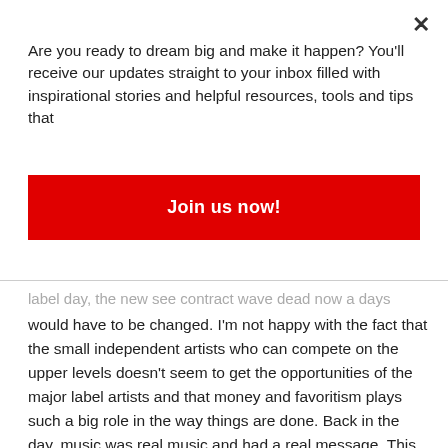Are you ready to dream big and make it happen? You'll receive our updates straight to your inbox filled with inspirational stories and helpful resources, tools and tips that
Join us now!
label day, the new see contract wave dead now a days would have to be changed. I'm not happy with the fact that the small independent artists who can compete on the upper levels doesn't seem to get the opportunities of the major label artists and that money and favoritism plays such a big role in the way things are done. Back in the day, music was real music and had a real message. This was an effective way to speak to the things that were going on during the times. Vietnam War, Women's Rights, Civil Rights.... It facilitated change. Artists used their platforms to address these things and people